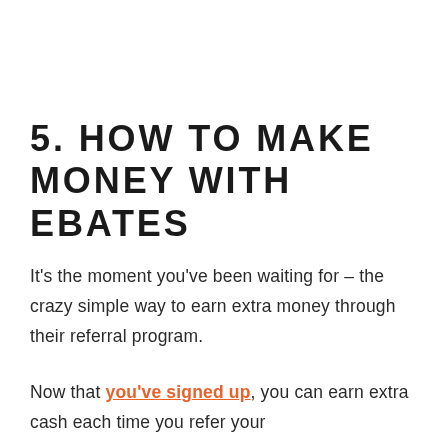5. HOW TO MAKE MONEY WITH EBATES
It's the moment you've been waiting for – the crazy simple way to earn extra money through their referral program.
Now that you've signed up, you can earn extra cash each time you refer your